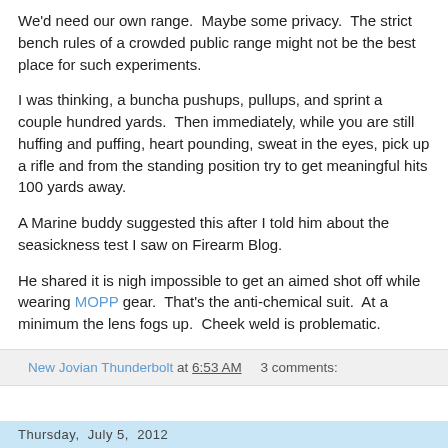We'd need our own range.  Maybe some privacy.  The strict bench rules of a crowded public range might not be the best place for such experiments.
I was thinking, a buncha pushups, pullups, and sprint a couple hundred yards.  Then immediately, while you are still huffing and puffing, heart pounding, sweat in the eyes, pick up a rifle and from the standing position try to get meaningful hits 100 yards away.
A Marine buddy suggested this after I told him about the seasickness test I saw on Firearm Blog.
He shared it is nigh impossible to get an aimed shot off while wearing MOPP gear.  That’s the anti-chemical suit.  At a minimum the lens fogs up.  Cheek weld is problematic.
New Jovian Thunderbolt at 6:53 AM    3 comments:
Thursday, July 5, 2012